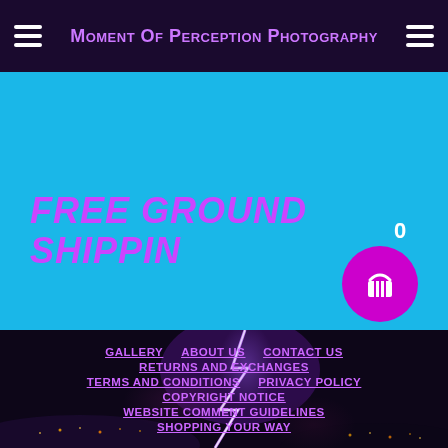Moment Of Perception Photography
FREE GROUND SHIPPIN
[Figure (screenshot): Shopping cart icon (basket) with 0 badge on cyan/blue banner background]
[Figure (photo): Night lightning storm photo with purple/magenta lightning bolt over dark hillside city]
GALLERY
ABOUT US
CONTACT US
RETURNS AND EXCHANGES
TERMS AND CONDITIONS
PRIVACY POLICY
COPYRIGHT NOTICE
WEBSITE COMMENT GUIDELINES
SHOPPING YOUR WAY